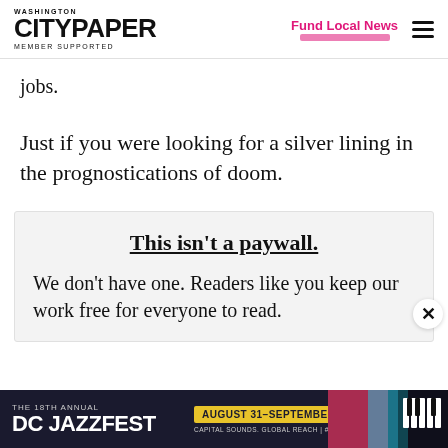Washington City Paper — MEMBER SUPPORTED | Fund Local News
jobs.
Just if you were looking for a silver lining in the prognostications of doom.
This isn't a paywall.
We don't have one. Readers like you keep our work free for everyone to read.
[Figure (other): DC Jazzfest advertisement banner: THE 18TH ANNUAL DC JAZZFEST | AUGUST 31–SEPTEMBER 4 | CAPITAL SOUNDS. GLOBAL REACH | #DCJAZZFEST]